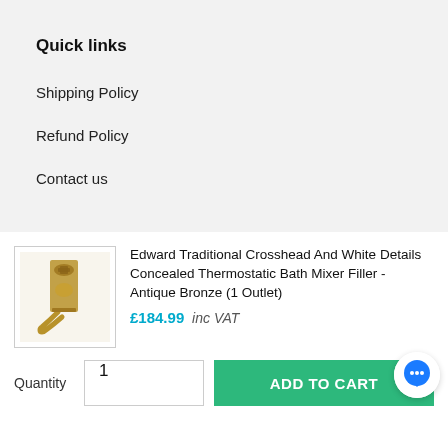Quick links
Shipping Policy
Refund Policy
Contact us
[Figure (photo): Product image of Edward Traditional Crosshead bath mixer filler in antique bronze finish]
Edward Traditional Crosshead And White Details Concealed Thermostatic Bath Mixer Filler - Antique Bronze (1 Outlet)
£184.99  inc VAT
Quantity  1  ADD TO CART